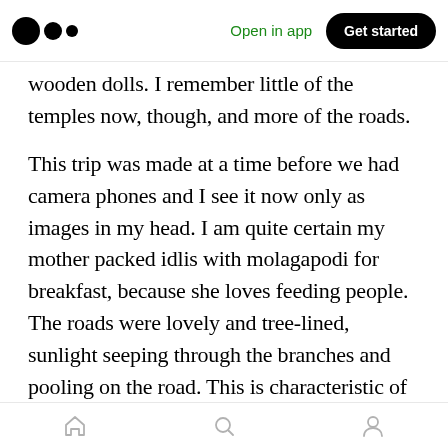Open in app | Get started
wooden dolls. I remember little of the temples now, though, and more of the roads.
This trip was made at a time before we had camera phones and I see it now only as images in my head. I am quite certain my mother packed idlis with molagapodi for breakfast, because she loves feeding people. The roads were lovely and tree-lined, sunlight seeping through the branches and pooling on the road. This is characteristic of so many roads in the Indian countryside! I've seen some of the most marvellous canopies over roads on the outskirts
Home Search Profile